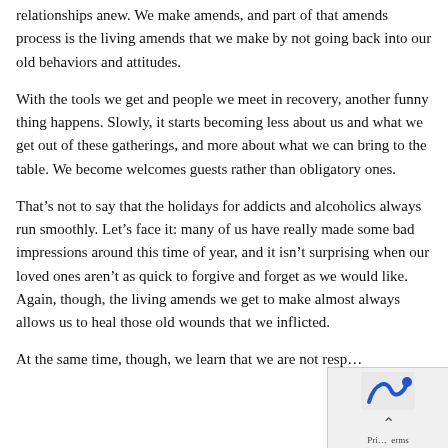relationships anew. We make amends, and part of that amends process is the living amends that we make by not going back into our old behaviors and attitudes.
With the tools we get and people we meet in recovery, another funny thing happens. Slowly, it starts becoming less about us and what we get out of these gatherings, and more about what we can bring to the table. We become welcomes guests rather than obligatory ones.
That’s not to say that the holidays for addicts and alcoholics always run smoothly. Let’s face it: many of us have really made some bad impressions around this time of year, and it isn’t surprising when our loved ones aren’t as quick to forgive and forget as we would like. Again, though, the living amends we get to make almost always allows us to heal those old wounds that we inflicted.
At the same time, though, we learn that we are not resp…